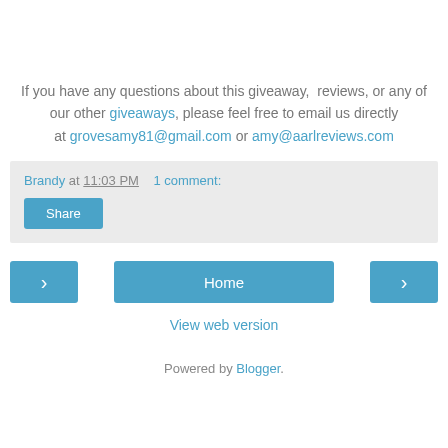If you have any questions about this giveaway, reviews, or any of our other giveaways, please feel free to email us directly at grovesamy81@gmail.com or amy@aarlreviews.com
Brandy at 11:03 PM   1 comment:
Share
< Home >
View web version
Powered by Blogger.